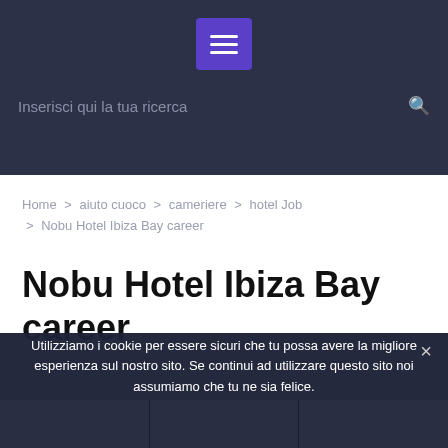[Figure (screenshot): Dark header with purple hamburger menu button and search bar with placeholder text 'Inserisci qui la tua ricerca' and search icon]
Home > aiuto cuoco > cameriere > hotel Job > Nobu Hotel Ibiza Bay career
Nobu Hotel Ibiza Bay career
Utilizziamo i cookie per essere sicuri che tu possa avere la migliore esperienza sul nostro sito. Se continui ad utilizzare questo sito noi assumiamo che tu ne sia felice.
Ok